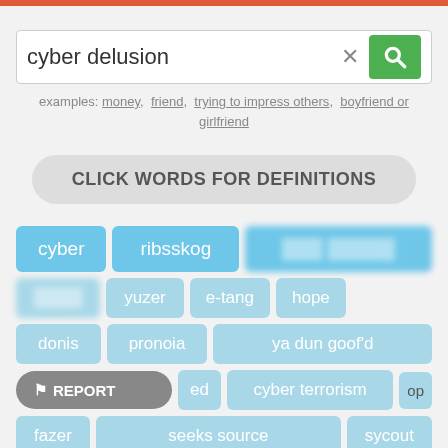[Figure (screenshot): Top orange/red bar at top of page]
cyber delusion
examples: money, friend, trying to impress others, boyfriend or girlfriend
CLICK WORDS FOR DEFINITIONS
cyber  ribsskog  [blurred]  [blurred]  yuzer  e-tang  hope  donis  pronoia  ya dun goof'd  [blurred]  [partial]ed  cyber terrorism  [partial]op  fazer  seeks source  sycout